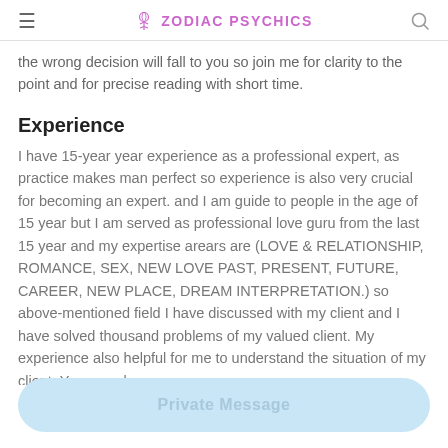Zodiac Psychics
the wrong decision will fall to you so join me for clarity to the point and for precise reading with short time.
Experience
I have 15-year year experience as a professional expert, as practice makes man perfect so experience is also very crucial for becoming an expert. and I am guide to people in the age of 15 year but I am served as professional love guru from the last 15 year and my expertise arears are (LOVE & RELATIONSHIP, ROMANCE, SEX, NEW LOVE PAST, PRESENT, FUTURE, CAREER, NEW PLACE, DREAM INTERPRETATION.) so above-mentioned field I have discussed with my client and I have solved thousand problems of my valued client. My experience also helpful for me to understand the situation of my client. You can also
Private Message